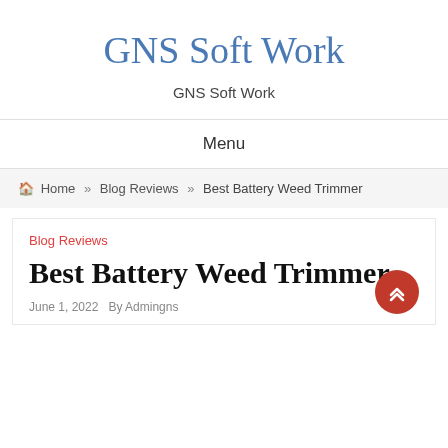GNS Soft Work
GNS Soft Work
Menu
Home » Blog Reviews » Best Battery Weed Trimmer
Blog Reviews
Best Battery Weed Trimmer
June 1, 2022  By Admingns